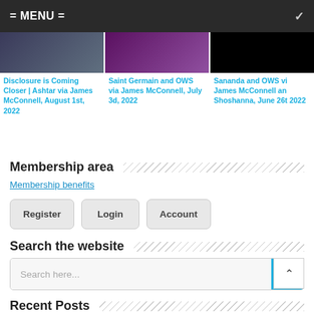= MENU =
Disclosure is Coming Closer | Ashtar via James McConnell, August 1st, 2022
Saint Germain and OWS via James McConnell, July 3d, 2022
Sananda and OWS via James McConnell and Shoshanna, June 26th 2022
Membership area
Membership benefits
Register
Login
Account
Search the website
Search here...
Recent Posts